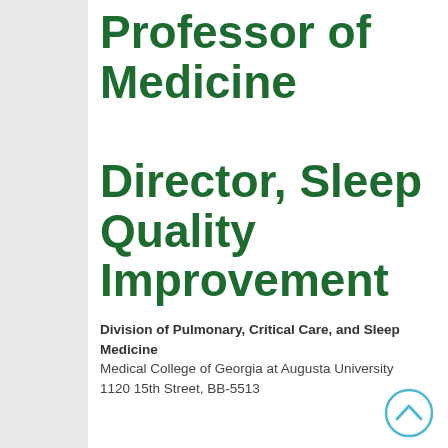Professor of Medicine Director, Sleep Quality Improvement
Division of Pulmonary, Critical Care, and Sleep Medicine
Medical College of Georgia at Augusta University
1120 15th Street, BB-5513